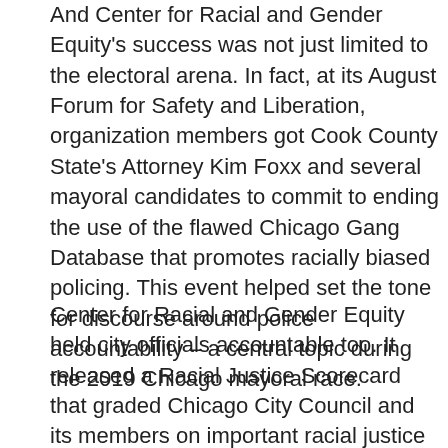And Center for Racial and Gender Equity's success was not just limited to the electoral arena. In fact, at its August Forum for Safety and Liberation, organization members got Cook County State's Attorney Kim Foxx and several mayoral candidates to commit to ending the use of the flawed Chicago Gang Database that promotes racially biased policing. This event helped set the tone for discourse around police accountability – a central topic during the 2019 Chicago mayoral race.
Center for Racial and Gender Equity held city officials accountable too. It released a Racial Justice Scorecard that graded Chicago City Council and its members on important racial justice issues. While it was disappointing to see the Chicago City Council receive an F overall, the scorecard attracted significant attention from the media, spreading awareness of important racial justice issues in